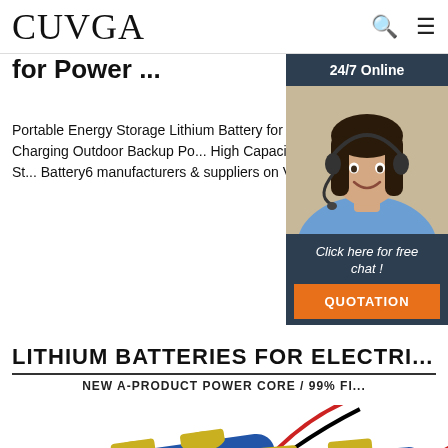CUVGA
for Power ...
Portable Energy Storage Lithium Battery for Power Generator Station for Solar Panel Charging Outdoor Backup Po... High Capacity 160000mAh Power Bank, Outdoor St... Battery6 manufacturers & suppliers on Video Chann... in-China.com.
24/7 Online
[Figure (photo): Customer service agent woman with headset smiling]
Click here for free chat !
QUOTATION
Get Price
LITHIUM BATTERIES FOR ELECTRI...
NEW A-PRODUCT POWER CORE / 99% FI...
[Figure (photo): Two blue lithium battery packs with wires and connectors, CUVGA branded]